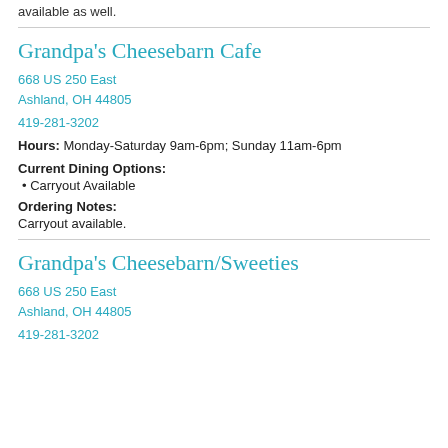available as well.
Grandpa's Cheesebarn Cafe
668 US 250 East
Ashland, OH 44805
419-281-3202
Hours: Monday-Saturday 9am-6pm; Sunday 11am-6pm
Current Dining Options:
Carryout Available
Ordering Notes:
Carryout available.
Grandpa's Cheesebarn/Sweeties
668 US 250 East
Ashland, OH 44805
419-281-3202